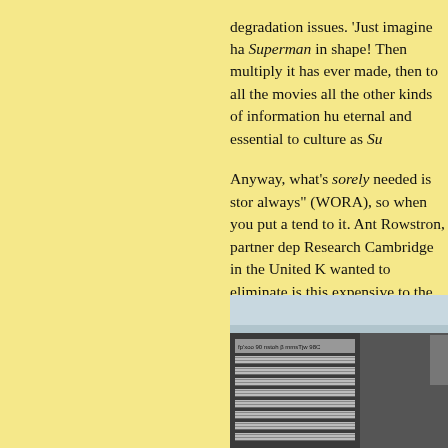degradation issues. 'Just imagine ha Superman in shape! Then multiply it has ever made, then to all the movies all the other kinds of information hu eternal and essential to culture as Su
Anyway, what's sorely needed is sto always" (WORA), so when you put a tend to it. Ant Rowstron, partner dep Research Cambridge in the United K wanted to eliminate is this expensive to the next generation. We really wa shelf for 50 or 100 or 1,000 years an
'Zackly. Here's a picture of my forme
[Figure (photo): A photograph showing what appears to be a storage device or rack with film strips or tape media, with a label or text visible on the device.]